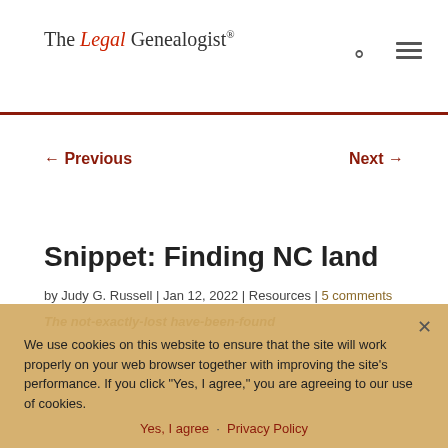The Legal Genealogist®
← Previous   Next →
Snippet: Finding NC land
by Judy G. Russell | Jan 12, 2022 | Resources | 5 comments
The not-exactly-lost have-been-found
We use cookies on this website to ensure that the site will work properly on your web browser together with improving the site's performance. If you click "Yes, I agree," you are agreeing to our use of cookies.
Yes, I agree   Privacy Policy